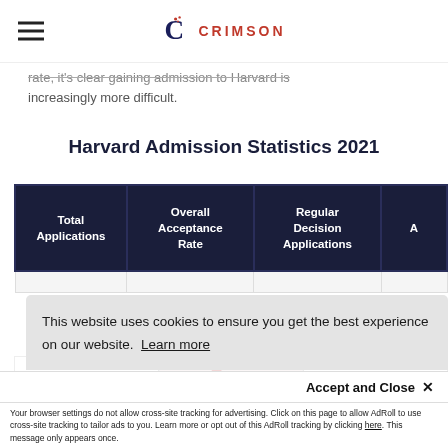CRIMSON (logo/nav bar)
rate, it's clear gaining admission to Harvard is increasingly more difficult.
Harvard Admission Statistics 2021
| Total Applications | Overall Acceptance Rate | Regular Decision Applications | A… |
| --- | --- | --- | --- |
This website uses cookies to ensure you get the best experience on our website. Learn more
Accept and Close ✕
Your browser settings do not allow cross-site tracking for advertising. Click on this page to allow AdRoll to use cross-site tracking to tailor ads to you. Learn more or opt out of this AdRoll tracking by clicking here. This message only appears once.